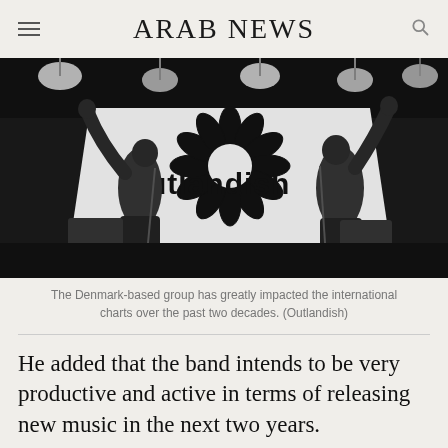ARAB NEWS
[Figure (photo): Black and white concert photo of two performers on stage with arms raised, a large screen showing the Outlandish logo behind them, stage lights overhead.]
The Denmark-based group has greatly impacted the international charts over the past two decades. (Outlandish)
He added that the band intends to be very productive and active in terms of releasing new music in the next two years.